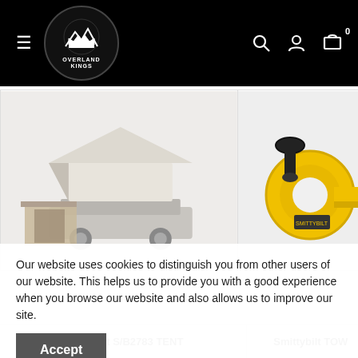[Figure (logo): Overland Kings logo — circular badge with mountain/crown icon, white on black background, with hamburger menu icon and search/account/cart icons]
[Figure (photo): Smittybilt rooftop tent mounted on a vehicle, white/beige color, shown with annex room attachment]
[Figure (photo): Smittybilt tow strap, yellow and black colors, partially visible on right side]
Our website uses cookies to distinguish you from other users of our website. This helps us to provide you with a good experience when you browse our website and also allows us to improve our site.
Accept
Smittybilt S/B2783 TENT
Smittybilt TOW